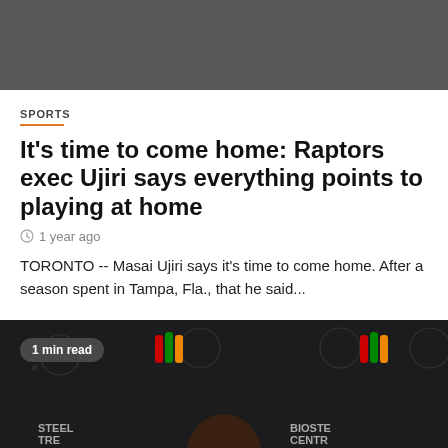[Figure (photo): Dark gray banner at top of page, possibly a video or image placeholder]
SPORTS
It's time to come home: Raptors exec Ujiri says everything points to playing at home
1 year ago
TORONTO -- Masai Ujiri says it's time to come home. After a season spent in Tampa, Fla., that he said...
[Figure (photo): Photo of Masai Ujiri smiling at a press conference in front of a BioSteel Centre / Raptors branded backdrop. A '1 min read' badge appears in the upper left. An orange scroll-to-top button is in the lower right.]